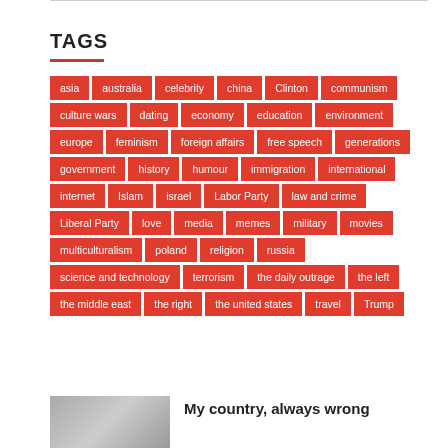TAGS
asia
australia
celebrity
china
Clinton
communism
culture wars
dating
economy
education
environment
europe
feminism
foreign affairs
free speech
generations
government
history
humour
immigration
international
internet
Islam
israel
Labor Party
law and crime
Liberal Party
love
media
memes
military
movies
multiculturalism
poland
religion
russia
science and technology
terrorism
the daily outrage
the left
the middle east
the right
the united states
travel
Trump
My country, always wrong